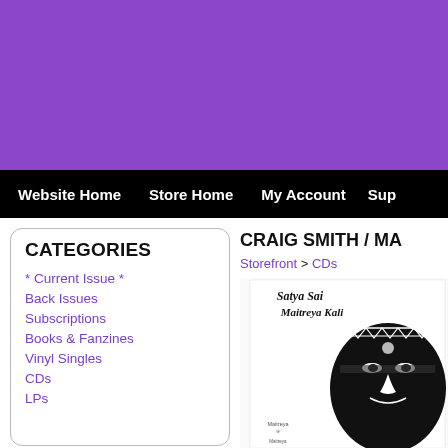[Figure (other): Purple banner header background]
Website Home   Store Home   My Account   Sup
CATEGORIES
* Current Issue *
Back Issues
Subscriptions
Books & Fanzines
Vinyl Singles
CDs
LPs
CRAIG SMITH / MA...
Storefront > CDs
[Figure (photo): CD album cover for Satya Sai Maitreya Kali by Craig Smith, showing black and white illustration of a face with a headdress and text in gothic font]